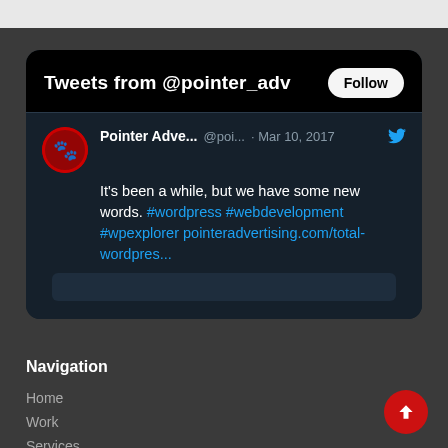[Figure (screenshot): Twitter/X widget showing tweets from @pointer_adv with a Follow button, showing a tweet from Pointer Adve... @poi... Mar 10, 2017: It's been a while, but we have some new words. #wordpress #webdevelopment #wpexplorer pointeradvertising.com/total-wordpres...]
Navigation
Home
Work
Services
Testimonials
Blog